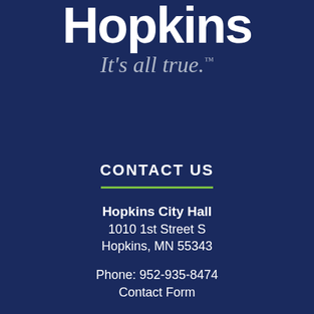[Figure (logo): Hopkins city logo with large 'Hopkins' wordmark in white bold text on dark navy background, with italic tagline 'It's all true.' in silver/gray below]
CONTACT US
Hopkins City Hall
1010 1st Street S
Hopkins, MN 55343

Phone: 952-935-8474
Contact Form